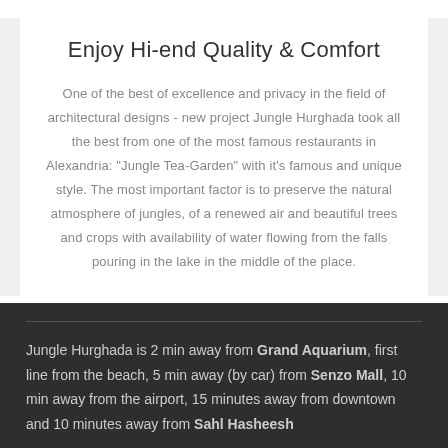Enjoy Hi-end Quality & Comfort
One of the best of excellence and privacy in the field of architectural designs - new project Jungle Hurghada took all the best from one of the most famous restaurants in Alexandria: "Jungle Tea-Garden" with it's famous and unique style. The most important factor is to preserve the natural atmosphere of jungles, of a renewed air and beautiful trees and crops with availability of water flowing from the falls pouring in the lake in the middle of the place.
Jungle Hurghada is 2 min away from Grand Aquarium, first line from the beach, 5 min away (by car) from Senzo Mall, 10 min away from the airport, 15 minutes away from downtown and 10 minutes away from Sahl Hasheesh